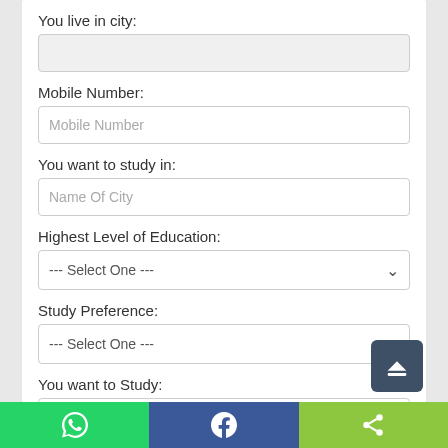You live in city:
[Figure (screenshot): Empty text input field for city]
Mobile Number:
[Figure (screenshot): Text input field with placeholder 'Mobile Number']
You want to study in:
[Figure (screenshot): Text input field with placeholder 'Name Of City']
Highest Level of Education:
[Figure (screenshot): Dropdown select field with placeholder '--- Select One ---']
Study Preference:
[Figure (screenshot): Dropdown select field with placeholder '--- Select One ---']
You want to Study:
[Figure (screenshot): Dropdown select field with placeholder '--- Select One ---']
[Figure (screenshot): Bottom toolbar with WhatsApp, Facebook, and share buttons]